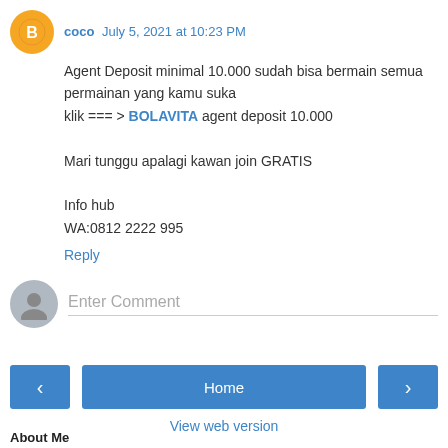coco  July 5, 2021 at 10:23 PM
Agent Deposit minimal 10.000 sudah bisa bermain semua permainan yang kamu suka
klik === > BOLAVITA agent deposit 10.000

Mari tunggu apalagi kawan join GRATIS

Info hub
WA:0812 2222 995
Reply
Enter Comment
Home
View web version
About Me